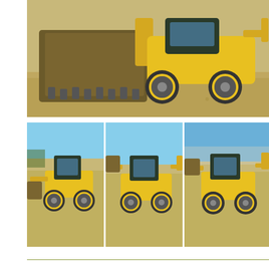[Figure (photo): Large photo of a backhoe loader (yellow) on a gravel/dirt surface, showing the front bucket close-up, taken outdoors.]
[Figure (photo): Thumbnail photo 1: Yellow backhoe loader with front bucket lowered, blue sky background, dirt ground.]
[Figure (photo): Thumbnail photo 2: Yellow backhoe loader with front bucket raised slightly, blue sky background, dirt ground.]
[Figure (photo): Thumbnail photo 3: Yellow backhoe loader with front bucket raised, blue sky background, fence in background.]
Inspection
October 12th and 13th from 8:15am - 4:45pm at the auction location in Denv before placing any bids. All Items are sold AS-IS WHERE-IS with NO g
Directions
Take the 84th Ave. Exit. #219, go east to Washington Ave., then south to 78th